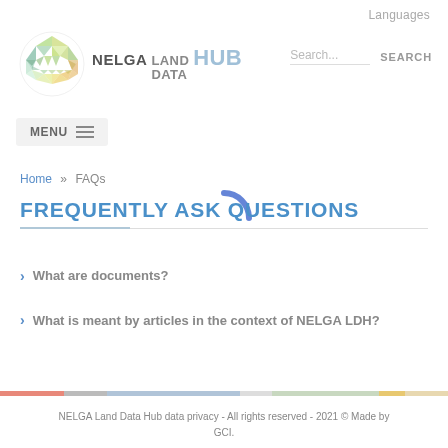Languages
[Figure (logo): NELGA Land Data Hub logo with circular geometric symbol and text 'NELGA LAND DATA HUB']
Search...   SEARCH
MENU ≡
Home » FAQs
FREQUENTLY ASK QUESTIONS
What are documents?
What is meant by articles in the context of NELGA LDH?
NELGA Land Data Hub data privacy - All rights reserved - 2021 © Made by GCI.